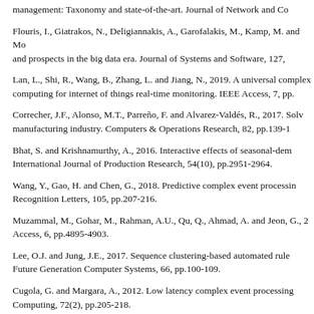management: Taxonomy and state-of-the-art. Journal of Network and Co
Flouris, I., Giatrakos, N., Deligiannakis, A., Garofalakis, M., Kamp, M. and Mo and prospects in the big data era. Journal of Systems and Software, 127,
Lan, L., Shi, R., Wang, B., Zhang, L. and Jiang, N., 2019. A universal complex computing for internet of things real-time monitoring. IEEE Access, 7, pp.
Correcher, J.F., Alonso, M.T., Parreño, F. and Alvarez-Valdés, R., 2017. Solv manufacturing industry. Computers & Operations Research, 82, pp.139-1
Bhat, S. and Krishnamurthy, A., 2016. Interactive effects of seasonal-dem International Journal of Production Research, 54(10), pp.2951-2964.
Wang, Y., Gao, H. and Chen, G., 2018. Predictive complex event processin Recognition Letters, 105, pp.207-216.
Muzammal, M., Gohar, M., Rahman, A.U., Qu, Q., Ahmad, A. and Jeon, G., 2 Access, 6, pp.4895-4903.
Lee, O.J. and Jung, J.E., 2017. Sequence clustering-based automated rule Future Generation Computer Systems, 66, pp.100-109.
Cugola, G. and Margara, A., 2012. Low latency complex event processing Computing, 72(2), pp.205-218.
Hewa Raga Munige, T., 2016. Real time stream processing for Internet of dissertation, Colorado State University).